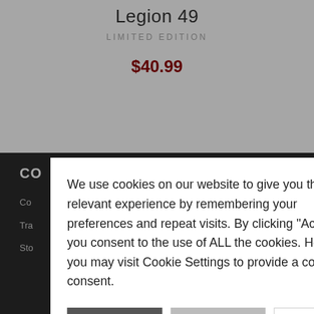Legion 49
LIMITED EDITION
$40.99
We use cookies on our website to give you the most relevant experience by remembering your preferences and repeat visits. By clicking “Accept”, you consent to the use of ALL the cookies. However you may visit Cookie Settings to provide a controlled consent.
ACCEPT | REJECT | SETTINGS
CO
Co
Tra
Sto